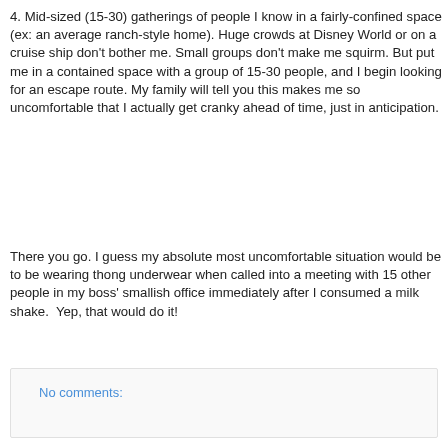4. Mid-sized (15-30) gatherings of people I know in a fairly-confined space (ex: an average ranch-style home). Huge crowds at Disney World or on a cruise ship don't bother me. Small groups don't make me squirm. But put me in a contained space with a group of 15-30 people, and I begin looking for an escape route. My family will tell you this makes me so uncomfortable that I actually get cranky ahead of time, just in anticipation.
There you go. I guess my absolute most uncomfortable situation would be to be wearing thong underwear when called into a meeting with 15 other people in my boss' smallish office immediately after I consumed a milk shake. Yep, that would do it!
No comments:
Share